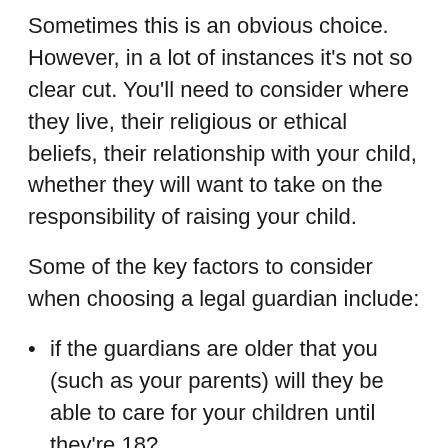Sometimes this is an obvious choice. However, in a lot of instances it's not so clear cut. You'll need to consider where they live, their religious or ethical beliefs, their relationship with your child, whether they will want to take on the responsibility of raising your child.
Some of the key factors to consider when choosing a legal guardian include:
if the guardians are older that you (such as your parents) will they be able to care for your children until they're 18?
if the guardians have children of their own, who's house would they all live in, theirs or yours?
if the guardians live in a different part of the UK, would your child need to relocate, leaving their